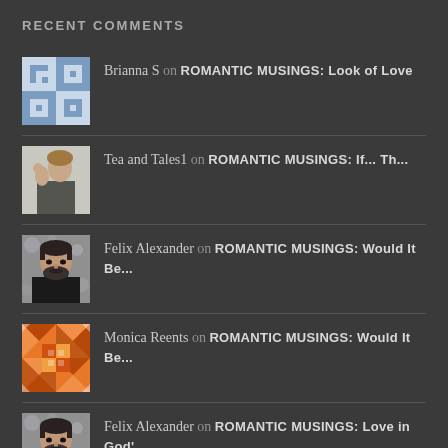RECENT COMMENTS
Brianna S on ROMANTIC MUSINGS: Look of Love
Tea and Tales1 on ROMANTIC MUSINGS: If... Th...
Felix Alexander on ROMANTIC MUSINGS: Would It Be...
Monica Reents on ROMANTIC MUSINGS: Would It Be...
Felix Alexander on ROMANTIC MUSINGS: Love in God'...